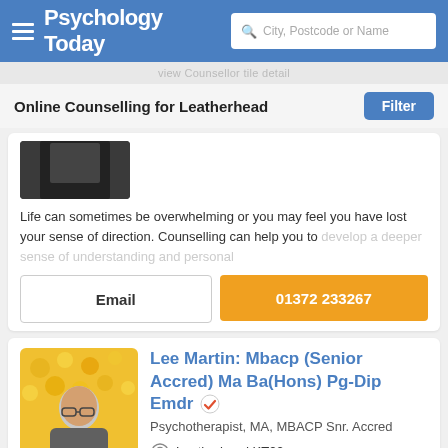Psychology Today — City, Postcode or Name search
Online Counselling for Leatherhead
Life can sometimes be overwhelming or you may feel you have lost your sense of direction. Counselling can help you to develop a deeper sense of understanding and personal
Email | 01372 233267
Lee Martin: Mbacp (Senior Accred) Ma Ba(Hons) Pg-Dip Emdr
Psychotherapist, MA, MBACP Snr. Accred
Leatherhead KT22
Offers online therapy